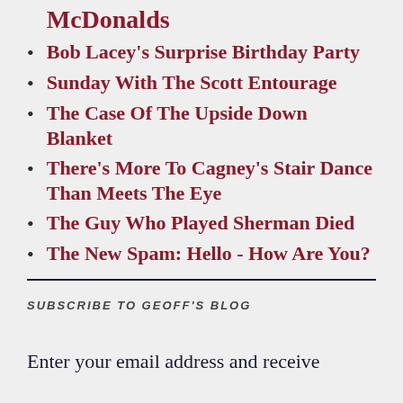McDonalds
Bob Lacey's Surprise Birthday Party
Sunday With The Scott Entourage
The Case Of The Upside Down Blanket
There's More To Cagney's Stair Dance Than Meets The Eye
The Guy Who Played Sherman Died
The New Spam: Hello - How Are You?
SUBSCRIBE TO GEOFF'S BLOG
Enter your email address and receive